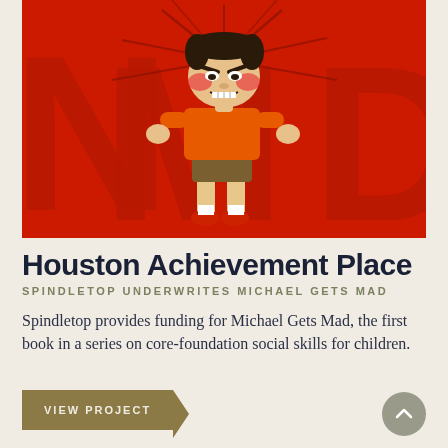[Figure (illustration): Book cover illustration showing an angry cartoon boy in an orange shirt and brown shorts, standing with fists clenched, red cheeks, against a bright red background with large letters 'MAD' visible behind him.]
Houston Achievement Place
SPINDLETOP UNDERWRITES MICHAEL GETS MAD
Spindletop provides funding for Michael Gets Mad, the first book in a series on core-foundation social skills for children.
VIEW PROJECT